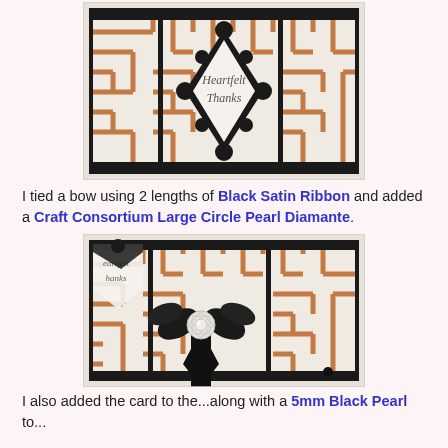[Figure (photo): Close-up photo of a handmade card with copper/white geometric maze pattern, black decorative border, and a white diamond-shaped center with 'Heartfelt Thanks' in script text.]
I tied a bow using 2 lengths of Black Satin Ribbon and added a Craft Consortium Large Circle Pearl Diamante.
[Figure (photo): Close-up photo showing the same handmade card with a black satin ribbon bow and large pearl diamante embellishment on the copper/white geometric patterned card.]
I also added the card to the...along with a 5mm Black Pearl to...